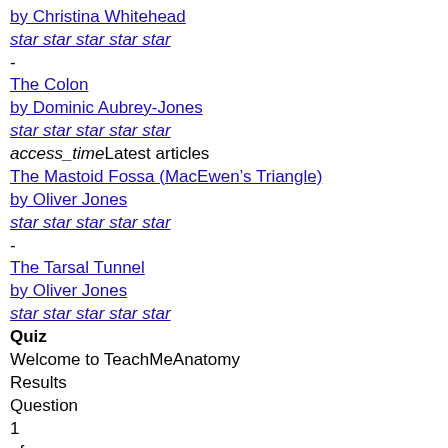by Christina Whitehead
star star star star star
-
The Colon
by Dominic Aubrey-Jones
star star star star star
access_timeLatest articles
The Mastoid Fossa (MacEwen’s Triangle)
by Oliver Jones
star star star star star
-
The Tarsal Tunnel
by Oliver Jones
star star star star star
Quiz
Welcome to TeachMeAnatomy
Results
Question
1
of
Skip
Submit
check_circle
Correct